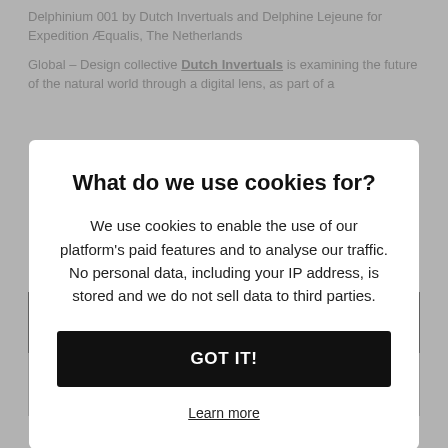Delphinium 001 by Dutch Invertuals and Delphine Lejeune for Expedition Æqualis, The Netherlands
Global – Design collective Dutch Invertuals is examining the future of the natural world through a digital lens, as part of a
What do we use cookies for?
We use cookies to enable the use of our platform's paid features and to analyse our traffic. No personal data, including your IP address, is stored and we do not sell data to third parties.
GOT IT!
Learn more
Discover Our Memberships
Sign in